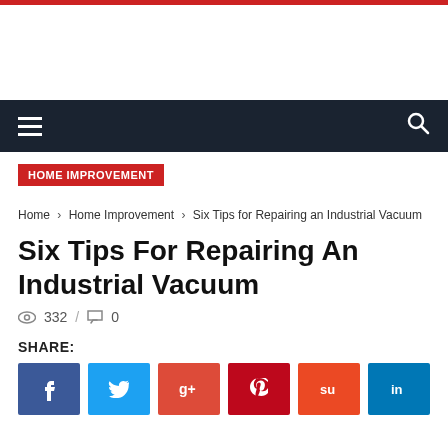HOME IMPROVEMENT
Home › Home Improvement › Six Tips for Repairing an Industrial Vacuum
Six Tips For Repairing An Industrial Vacuum
332 / 0
SHARE:
[Figure (other): Social share buttons: Facebook, Twitter, Google+, Pinterest, StumbleUpon, LinkedIn]